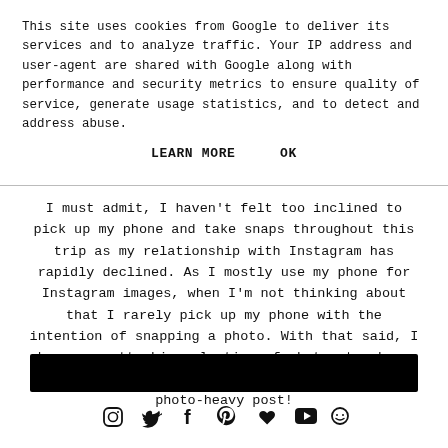This site uses cookies from Google to deliver its services and to analyze traffic. Your IP address and user-agent are shared with Google along with performance and security metrics to ensure quality of service, generate usage statistics, and to detect and address abuse.
LEARN MORE    OK
I must admit, I haven't felt too inclined to pick up my phone and take snaps throughout this trip as my relationship with Instagram has rapidly declined. As I mostly use my phone for Instagram images, when I'm not thinking about that I rarely pick up my phone with the intention of snapping a photo. With that said, I have a pretty big selection of photos to share with you so I hope you're ready for a seriously photo-heavy post!
[Figure (other): Black rectangular bar, likely an image or redacted content]
[Figure (other): Social media icons row: Instagram, Twitter, Facebook, Pinterest, heart/Bloglovin, YouTube, and another icon]